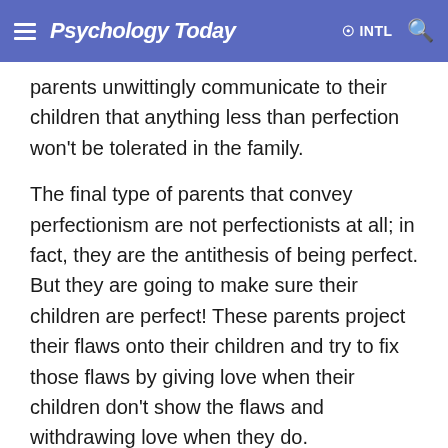Psychology Today  INTL
parents unwittingly communicate to their children that anything less than perfection won't be tolerated in the family.
The final type of parents that convey perfectionism are not perfectionists at all; in fact, they are the antithesis of being perfect. But they are going to make sure their children are perfect! These parents project their flaws onto their children and try to fix those flaws by giving love when their children don't show the flaws and withdrawing love when they do. Unfortunately, instead of creating perfect children and absolving themselves of their own imperfections, they pass